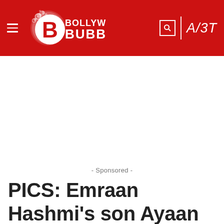Bollywood Bubble | A/3T
- Sponsored -
PICS: Emraan Hashmi's son Ayaan Hashmi is a